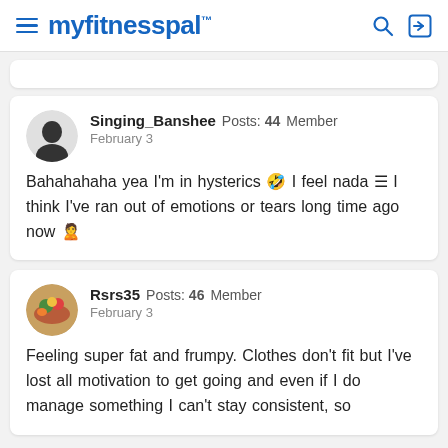myfitnesspal
Singing_Banshee Posts: 44 Member
February 3
Bahahahaha yea I'm in hysterics 🤣 I feel nada 📋 I think I've ran out of emotions or tears long time ago now 🙎
Rsrs35 Posts: 46 Member
February 3
Feeling super fat and frumpy. Clothes don't fit but I've lost all motivation to get going and even if I do manage something I can't stay consistent, so